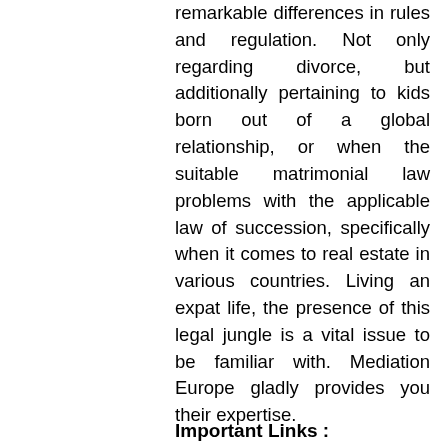remarkable differences in rules and regulation. Not only regarding divorce, but additionally pertaining to kids born out of a global relationship, or when the suitable matrimonial law problems with the applicable law of succession, specifically when it comes to real estate in various countries. Living an expat life, the presence of this legal jungle is a vital issue to be familiar with. Mediation Europe gladly provides you their expertise.
Important Links :